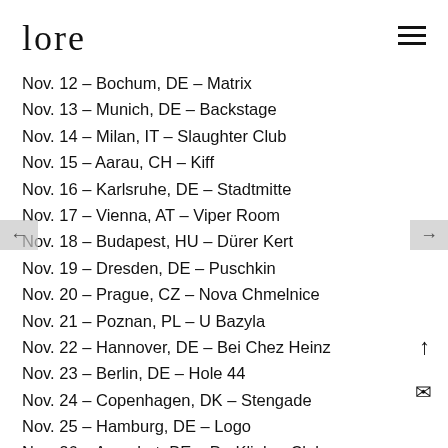lore
Nov. 12 – Bochum, DE – Matrix
Nov. 13 – Munich, DE – Backstage
Nov. 14 – Milan, IT – Slaughter Club
Nov. 15 – Aarau, CH – Kiff
Nov. 16 – Karlsruhe, DE – Stadtmitte
Nov. 17 – Vienna, AT – Viper Room
Nov. 18 – Budapest, HU – Dürer Kert
Nov. 19 – Dresden, DE – Puschkin
Nov. 20 – Prague, CZ – Nova Chmelnice
Nov. 21 – Poznan, PL – U Bazyla
Nov. 22 – Hannover, DE – Bei Chez Heinz
Nov. 23 – Berlin, DE – Hole 44
Nov. 24 – Copenhagen, DK – Stengade
Nov. 25 – Hamburg, DE – Logo
Nov. 26 – Aarschot, BE – De Klinker Club
Nov. 27 – London, UK – O2 Academy Islington